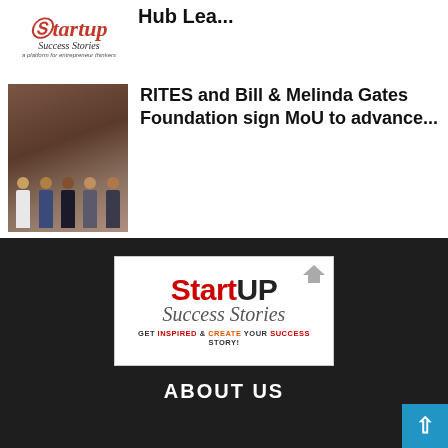[Figure (logo): Startup Success Stories logo - top left, small size with cursive text]
Hub Lea...
[Figure (photo): Group of people standing together holding certificates or plaques, in a formal setting]
RITES and Bill & Melinda Gates Foundation sign MoU to advance...
[Figure (logo): Startup Success Stories logo - large version in footer, with tagline GET INSPIRED & CREATE YOUR SUCCESS STORY!]
ABOUT US